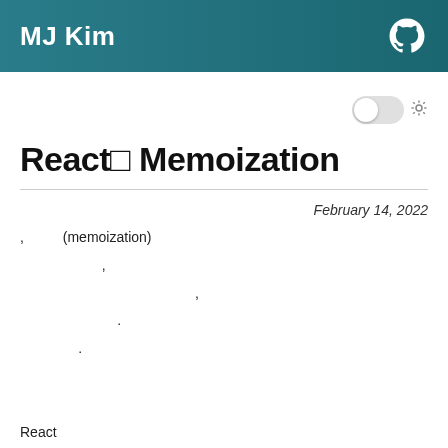MJ Kim
React🔲 Memoization
February 14, 2022
, (memoization)
,
,
.
.
React